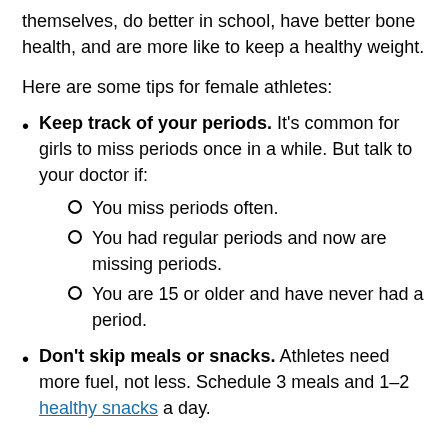themselves, do better in school, have better bone health, and are more like to keep a healthy weight.
Here are some tips for female athletes:
Keep track of your periods. It's common for girls to miss periods once in a while. But talk to your doctor if:
You miss periods often.
You had regular periods and now are missing periods.
You are 15 or older and have never had a period.
Don't skip meals or snacks. Athletes need more fuel, not less. Schedule 3 meals and 1–2 healthy snacks a day.